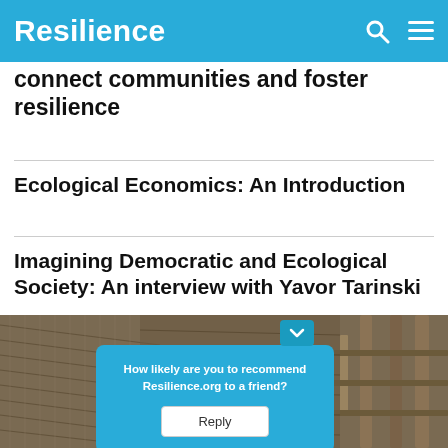Resilience
connect communities and foster resilience
Ecological Economics: An Introduction
Imagining Democratic and Ecological Society: An interview with Yavor Tarinski
[Figure (photo): Thatched roof and bamboo structure, partially obscured by a survey popup overlay]
How likely are you to recommend Resilience.org to a friend?
Reply